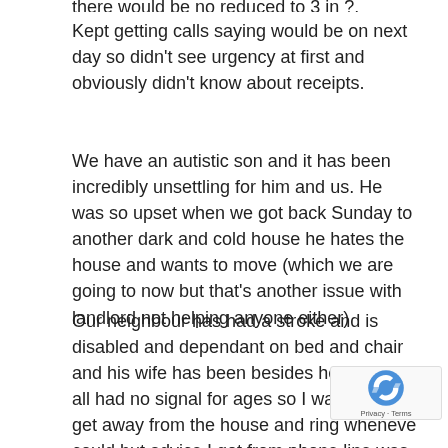Kept getting calls saying would be on next day so didn't see urgency at first and obviously didn't know about receipts.
We have an autistic son and it has been incredibly unsettling for him and us. He was so upset when we got back Sunday to another dark and cold house he hates the house and wants to move (which we are going to now but that's another issue with landlord not helping anyone either)
Our neighbour has had a stroke and is disabled and dependant on bed and chair and his wife has been besides herself. We all had no signal for ages so I was trying to get away from the house and ring wheneve could but advice I got from phone line was she woul have to ring 999.